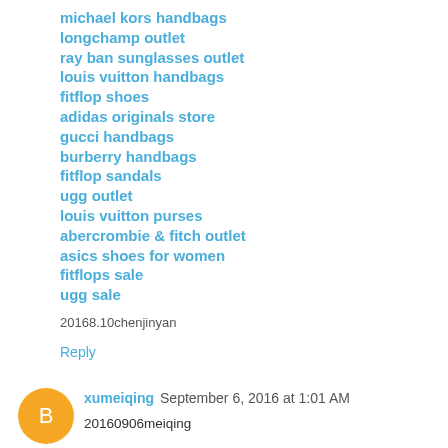michael kors handbags
longchamp outlet
ray ban sunglasses outlet
louis vuitton handbags
fitflop shoes
adidas originals store
gucci handbags
burberry handbags
fitflop sandals
ugg outlet
louis vuitton purses
abercrombie & fitch outlet
asics shoes for women
fitflops sale
ugg sale
20168.10chenjinyan
Reply
xumeiqing September 6, 2016 at 1:01 AM
20160906meiqing